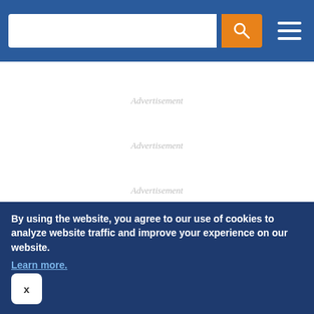Navigation bar with search and hamburger menu
Advertisement
Advertisement
Advertisement
THE NATIONAL LAW REVIEW
ANTITRUST LAW
IMMIGRATION
BANKRUPTCY & RESTRUCTURING
INTELLECTUAL PROPERTY LAW
BIOTECH, FOOD, & DRUG
INSURANCE
By using the website, you agree to our use of cookies to analyze website traffic and improve your experience on our website.
Learn more.